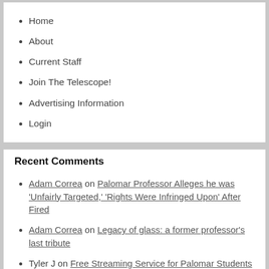Home
About
Current Staff
Join The Telescope!
Advertising Information
Login
Recent Comments
Adam Correa on Palomar Professor Alleges he was 'Unfairly Targeted,' 'Rights Were Infringed Upon' After Fired
Adam Correa on Legacy of glass: a former professor's last tribute
Tyler J on Free Streaming Service for Palomar Students and Faculty